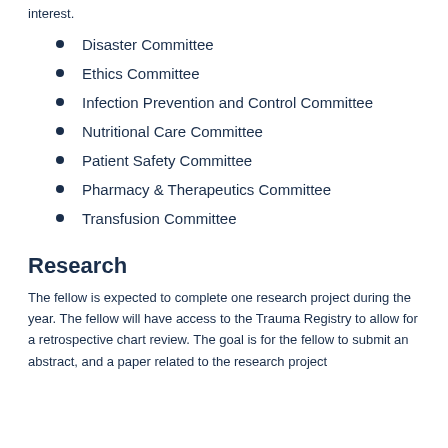interest.
Disaster Committee
Ethics Committee
Infection Prevention and Control Committee
Nutritional Care Committee
Patient Safety Committee
Pharmacy & Therapeutics Committee
Transfusion Committee
Research
The fellow is expected to complete one research project during the year. The fellow will have access to the Trauma Registry to allow for a retrospective chart review. The goal is for the fellow to submit an abstract, and a paper related to the research project